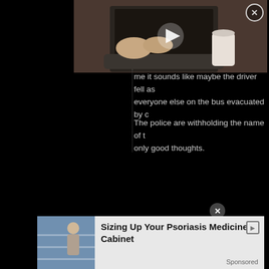[Figure (screenshot): Video thumbnail showing hands typing on a laptop with a coffee cup visible, with a play button overlay. A close (X) button is in the top right corner of the video.]
me it sounds like maybe the driver fell as everyone else on the bus evacuated by c
The police are withholding the name of t only good thoughts.
[Figure (screenshot): Advertisement banner at the bottom with an image of a person in a store aisle, titled 'Sizing Up Your Psoriasis Medicine Cabinet', marked as Sponsored. A close X button overlays the ad.]